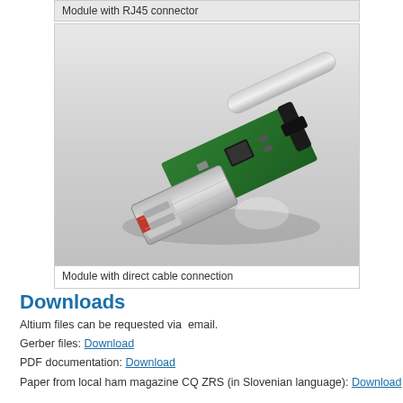Module with RJ45 connector
[Figure (photo): 3D render of a USB module with direct cable connection — a green PCB with USB Type-A connector (red contact area) attached to a cable with a black cable tie/clamp]
Module with direct cable connection
Downloads
Altium files can be requested via  email.
Gerber files: Download
PDF documentation: Download
Paper from local ham magazine CQ ZRS (in Slovenian language): Download